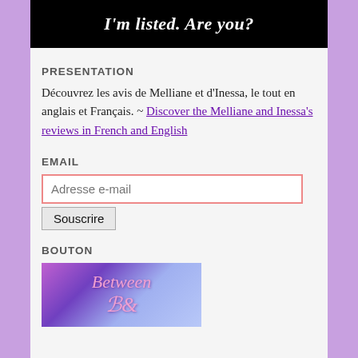[Figure (other): Black banner with white bold italic text reading "I'm listed. Are you?"]
PRESENTATION
Découvrez les avis de Melliane et d'Inessa, le tout en anglais et Français. ~ Discover the Melliane and Inessa's reviews in French and English
EMAIL
Adresse e-mail [input field] Souscrire [button]
BOUTON
[Figure (illustration): Decorative book blog button image with purple and blue tones showing 'Between' text in cursive script]